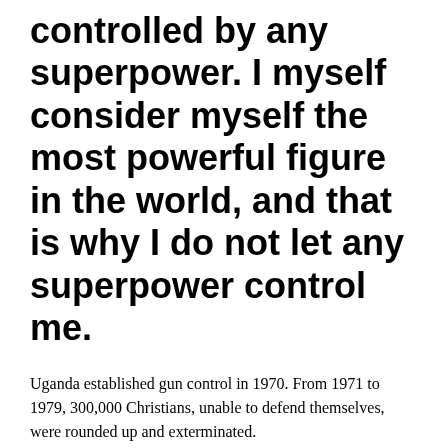controlled by any superpower. I myself consider myself the most powerful figure in the world, and that is why I do not let any superpower control me.
Uganda established gun control in 1970. From 1971 to 1979, 300,000 Christians, unable to defend themselves, were rounded up and exterminated.
Pol Pot, who created in Cambodia one of the 20th century's most brutal and radical regimes, was responsible for killing one million of his own 'educated,' yet unarmed citizens.